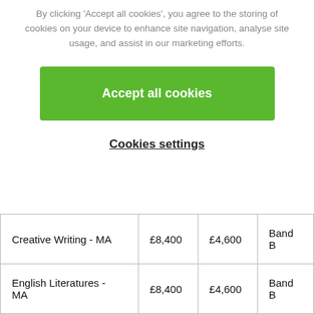By clicking 'Accept all cookies', you agree to the storing of cookies on your device to enhance site navigation, analyse site usage, and assist in our marketing efforts.
Accept all cookies
Cookies settings
| Creative Writing - MA | £8,400 | £4,600 | Band B |
| English Literatures - MA | £8,400 | £4,600 | Band B |